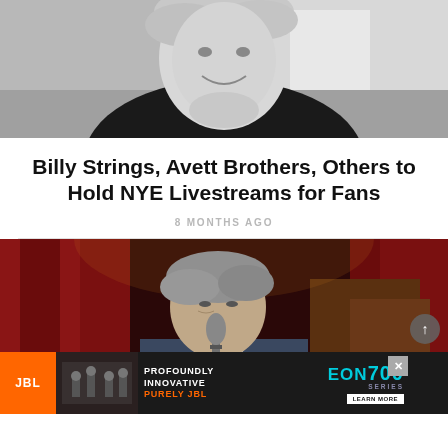[Figure (photo): Black and white photo of a young person with light hair smiling, wearing a dark shirt, photographed outdoors]
Billy Strings, Avett Brothers, Others to Hold NYE Livestreams for Fans
8 MONTHS AGO
[Figure (photo): Color photo of an older male performer with gray hair leaning toward a vintage microphone on stage, with red curtains in the background]
[Figure (infographic): JBL advertisement banner: PROFOUNDLY INNOVATIVE PURELY JBL - EON700 SERIES - LEARN MORE button]